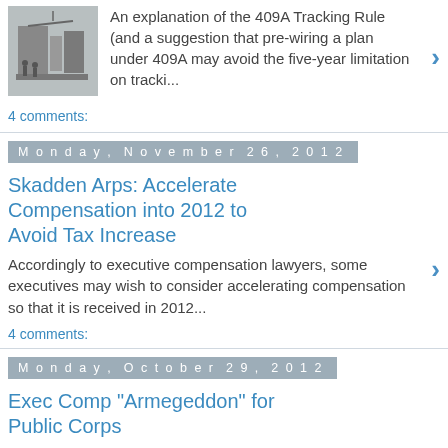[Figure (photo): Black and white industrial/factory photo with machinery]
An explanation of the 409A Tracking Rule (and a suggestion that pre-wiring a plan under 409A may avoid the five-year limitation on tracki...
4 comments:
Monday, November 26, 2012
Skadden Arps: Accelerate Compensation into 2012 to Avoid Tax Increase
Accordingly to executive compensation lawyers, some executives may wish to consider accelerating compensation so that it is received in 2012...
4 comments:
Monday, October 29, 2012
Exec Comp "Armegeddon" for Public Corps
From Melbinger Exec Comp Blog: "Imagine a lawsuit brought in the weeks leading up to your company's annual shareholders' mee...